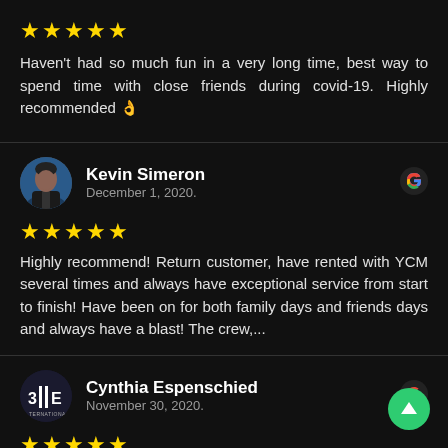★★★★★
Haven't had so much fun in a very long time, best way to spend time with close friends during covid-19. Highly recommended 👌
[Figure (other): Horizontal divider line]
[Figure (photo): Profile photo of Kevin Simeron, a man in a suit]
Kevin Simeron
December 1, 2020.
[Figure (logo): Google G logo]
★★★★★
Highly recommend! Return customer, have rented with YCM several times and always have exceptional service from start to finish! Have been on for both family days and friends days and always have a blast! The crew,...
[Figure (other): Horizontal divider line]
[Figure (logo): Elle logo / avatar]
Cynthia Espenschied
November 30, 2020.
[Figure (logo): Google G logo]
★★★★★
[Figure (other): Green circle with up arrow scroll button]